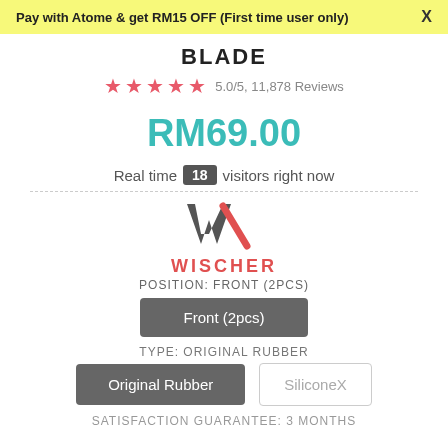Pay with Atome & get RM15 OFF (First time user only)   X
BLADE
5.0/5, 11,878 Reviews
RM69.00
Real time 18 visitors right now
[Figure (logo): WISCHER brand logo with W mark in dark grey and red]
POSITION: FRONT (2PCS)
Front (2pcs)
TYPE: ORIGINAL RUBBER
Original Rubber   SiliconeX
SATISFACTION GUARANTEE: 3 MONTHS